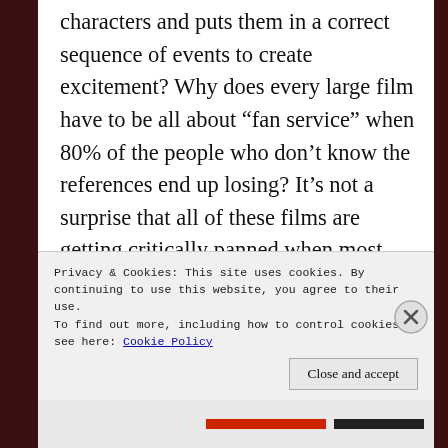characters and puts them in a correct sequence of events to create excitement? Why does every large film have to be all about “fan service” when 80% of the people who don’t know the references end up losing? It’s not a surprise that all of these films are getting critically panned when most people are left behind from the story-telling. Just because your pants get a little uncomfortable because of a two second flash of a symbol that only you know about doesn’t end up relating to the larger good of the film…
Privacy & Cookies: This site uses cookies. By continuing to use this website, you agree to their use.
To find out more, including how to control cookies, see here: Cookie Policy
Close and accept